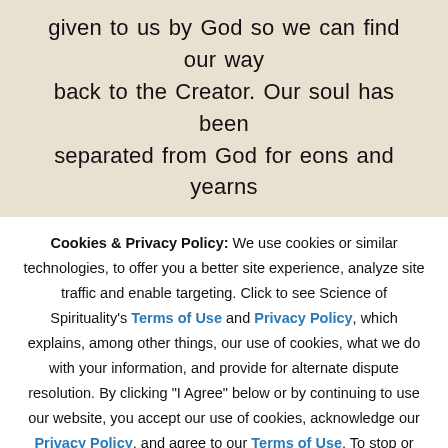given to us by God so we can find our way back to the Creator. Our soul has been separated from God for eons and yearns
Cookies & Privacy Policy: We use cookies or similar technologies, to offer you a better site experience, analyze site traffic and enable targeting. Click to see Science of Spirituality's Terms of Use and Privacy Policy, which explains, among other things, our use of cookies, what we do with your information, and provide for alternate dispute resolution. By clicking "I Agree" below or by continuing to use our website, you accept our use of cookies, acknowledge our Privacy Policy, and agree to our Terms of Use. To stop or block cookies use your browser settings, refer to the Privacy Policy for more details.
I Agree